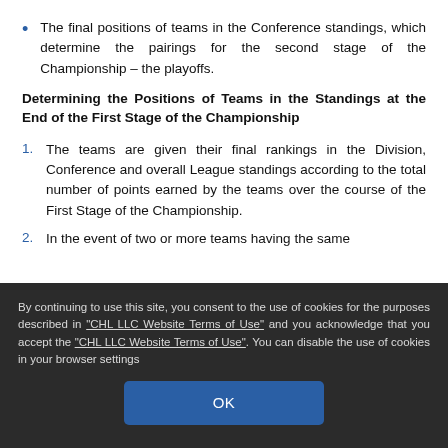The final positions of teams in the Conference standings, which determine the pairings for the second stage of the Championship – the playoffs.
Determining the Positions of Teams in the Standings at the End of the First Stage of the Championship
1. The teams are given their final rankings in the Division, Conference and overall League standings according to the total number of points earned by the teams over the course of the First Stage of the Championship.
2. In the event of two or more teams having the same
By continuing to use this site, you consent to the use of cookies for the purposes described in "CHL LLC Website Terms of Use" and you acknowledge that you accept the "CHL LLC Website Terms of Use". You can disable the use of cookies in your browser settings